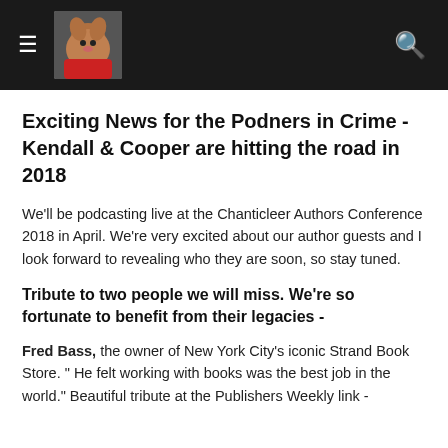≡ [dog photo] 🔍
Exciting News for the Podners in Crime - Kendall & Cooper are hitting the road in 2018
We'll be podcasting live at the Chanticleer Authors Conference 2018 in April.  We're very excited about our author guests and I look forward to revealing who they are soon, so stay tuned.
Tribute to two people we will miss.  We're so fortunate to benefit from their legacies -
Fred Bass, the owner of New York City's iconic Strand Book Store.  " He felt working with books was the best job in the world."  Beautiful tribute at the Publishers Weekly link -